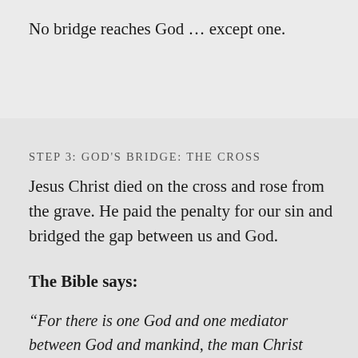No bridge reaches God … except one.
STEP 3: GOD'S BRIDGE: THE CROSS
Jesus Christ died on the cross and rose from the grave. He paid the penalty for our sin and bridged the gap between us and God.
The Bible says:
“For there is one God and one mediator between God and mankind, the man Christ